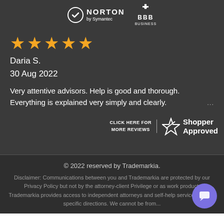[Figure (logo): Norton by Symantec and BBB Business trust badges on dark background]
[Figure (infographic): Five orange star rating]
Daria S.
30 Aug 2022
Very attentive advisors. Help is good and thorough. Everything is explained very simply and clearly.
[Figure (logo): Shoppers Approved logo with click here for more reviews text]
© 2022 reserved by Trademarkia.
Disclaimer: Communications between you and Trademarkia are protected by our Privacy Policy but not by the attorney-client Privilege or as work product. Trademarkia provides access to independent attorneys and self-help services at your specific directions. We cannot be from...